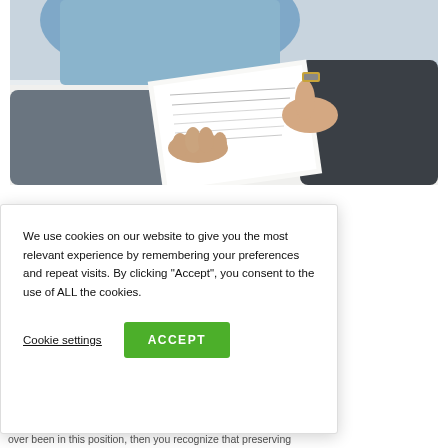[Figure (photo): Two people at a table, one handing a document to the other; hands visible, one person wearing a watch and blue shirt, the other in a dark suit jacket.]
t.  While the iture is exciting, g started. sour. need to hire a v questions ?"  If you've over been in this position, then you recognize that preserving
[Figure (other): Cookie consent banner overlay with message: 'We use cookies on our website to give you the most relevant experience by remembering your preferences and repeat visits. By clicking "Accept", you consent to the use of ALL the cookies.' with 'Cookie settings' and 'ACCEPT' buttons.]
over been in this position, then you recognize that preserving